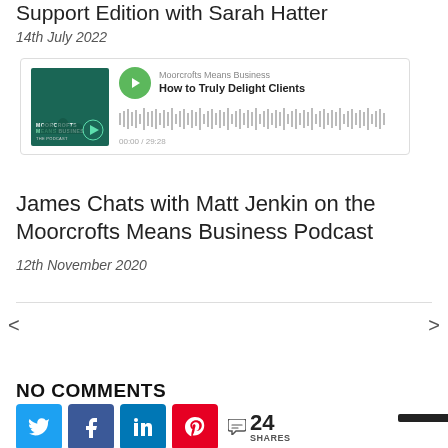Support Edition with Sarah Hatter
14th July 2022
[Figure (other): Embedded podcast player showing 'How to Truly Delight Clients' episode from Moorcrofts Means Business podcast, with waveform audio visualization]
James Chats with Matt Jenkin on the Moorcrofts Means Business Podcast
12th November 2020
< (previous) > (next) navigation
NO COMMENTS
Social share buttons: Twitter, Facebook, LinkedIn, Pinterest. 24 SHARES